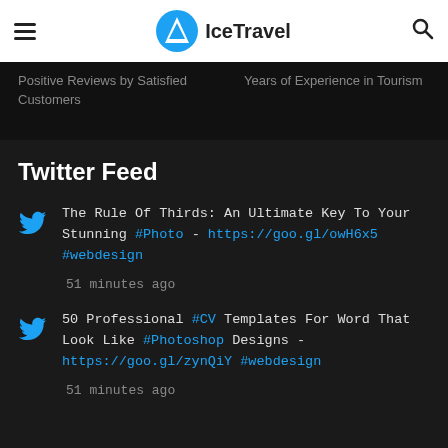IceTravel
Positive Reviews by Satisfied Customers   Years of Experience in Tourism
Twitter Feed
The Rule Of Thirds: An Ultimate Key To Your Stunning #Photo - https://goo.gl/owH6x5 #webdesign
51 minutes ago
50 Professional #CV Templates For Word That Look Like #Photoshop Designs - https://goo.gl/zynQiY #webdesign
51 minutes ago